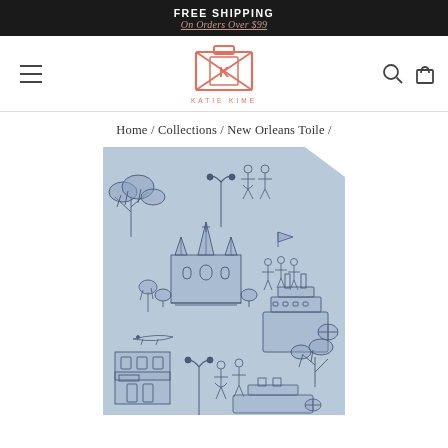FREE SHIPPING
On Orders Over $99
[Figure (logo): Katie Kime brand logo — geometric suitcase/diamond shape in coral/salmon color with text KATIE KIME below]
Home / Collections / New Orleans Toile /
[Figure (photo): New Orleans Toile fabric pattern on light blue background featuring toile-style illustrations of New Orleans landmarks including St. Louis Cathedral, steamboats, oak trees with Spanish moss, street performers, and architectural scenes in navy blue line art]